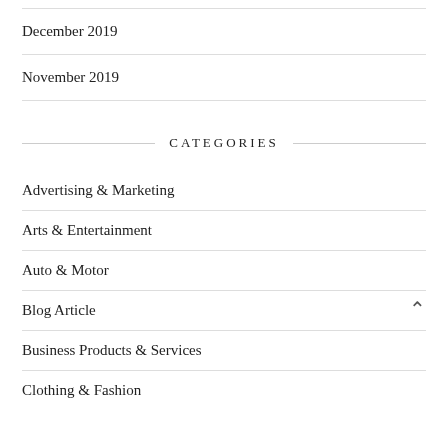December 2019
November 2019
CATEGORIES
Advertising & Marketing
Arts & Entertainment
Auto & Motor
Blog Article
Business Products & Services
Clothing & Fashion